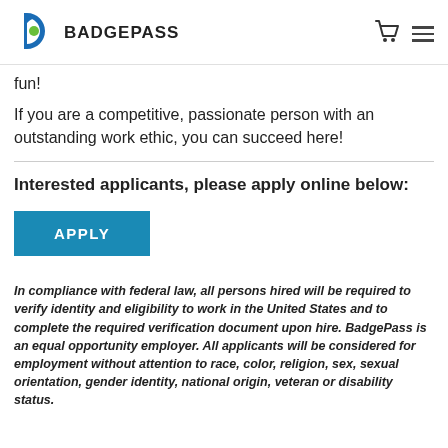BADGEPASS
fun!
If you are a competitive, passionate person with an outstanding work ethic, you can succeed here!
Interested applicants, please apply online below:
[Figure (other): APPLY button — teal/blue rectangle with white bold text 'APPLY']
In compliance with federal law, all persons hired will be required to verify identity and eligibility to work in the United States and to complete the required verification document upon hire. BadgePass is an equal opportunity employer. All applicants will be considered for employment without attention to race, color, religion, sex, sexual orientation, gender identity, national origin, veteran or disability status.